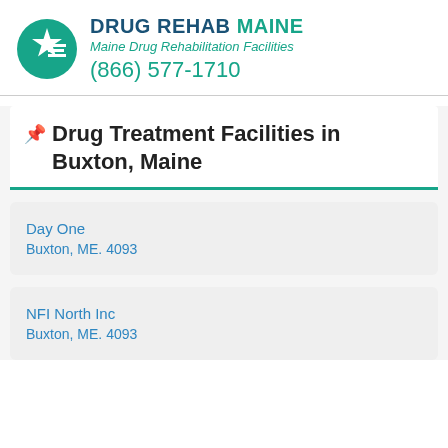DRUG REHAB MAINE — Maine Drug Rehabilitation Facilities — (866) 577-1710
Drug Treatment Facilities in Buxton, Maine
Day One
Buxton, ME. 4093
NFI North Inc
Buxton, ME. 4093